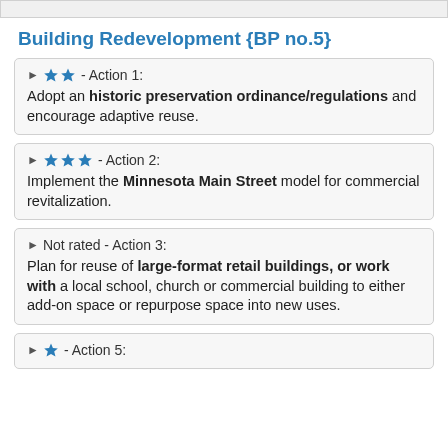Building Redevelopment {BP no.5}
★★ - Action 1: Adopt an historic preservation ordinance/regulations and encourage adaptive reuse.
★★★ - Action 2: Implement the Minnesota Main Street model for commercial revitalization.
Not rated - Action 3: Plan for reuse of large-format retail buildings, or work with a local school, church or commercial building to either add-on space or repurpose space into new uses.
★ - Action 5: